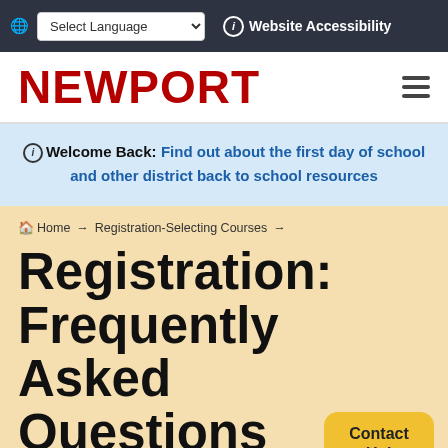🌐 Select Language  ⓘ Website Accessibility
NEWPORT
ⓘ Welcome Back: Find out about the first day of school and other district back to school resources
🏠Home → Registration-Selecting Courses →
Registration: Frequently Asked Questions